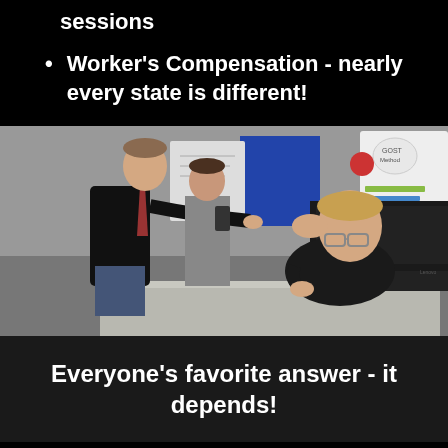sessions
Worker's Compensation - nearly every state is different!
[Figure (photo): Office scene: a stressed employee sits at a laptop with head in hand while two colleagues lean over pointing at the screen, a whiteboard with notes visible in background]
Everyone's favorite answer - it depends!